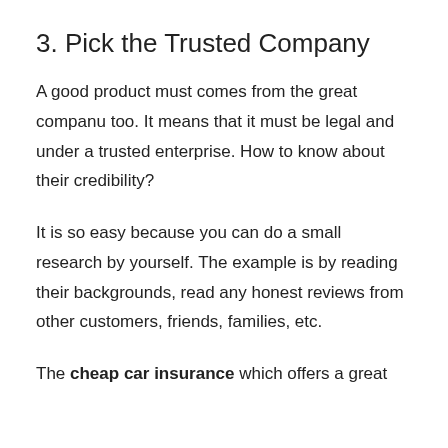3. Pick the Trusted Company
A good product must comes from the great companu too. It means that it must be legal and under a trusted enterprise. How to know about their credibility?
It is so easy because you can do a small research by yourself. The example is by reading their backgrounds, read any honest reviews from other customers, friends, families, etc.
The cheap car insurance which offers a great